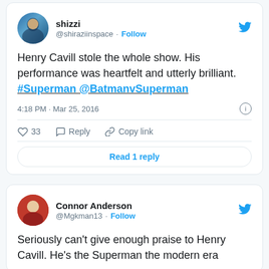[Figure (screenshot): Twitter/X profile avatar for shizzi (@shiraziinspace), circular photo]
shizzi
@shiraziinspace · Follow
Henry Cavill stole the whole show. His performance was heartfelt and utterly brilliant. #Superman @BatmanvSuperman
4:18 PM · Mar 25, 2016
33  Reply  Copy link
Read 1 reply
[Figure (screenshot): Twitter/X profile avatar for Connor Anderson (@Mgkman13), circular photo]
Connor Anderson
@Mgkman13 · Follow
Seriously can't give enough praise to Henry Cavill. He's the Superman the modern era